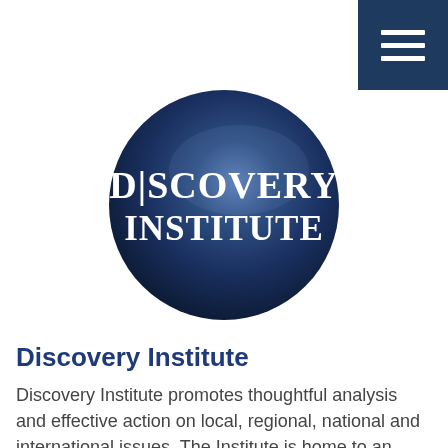[Figure (logo): Discovery Institute circular logo — dark navy blue circle with white serif text reading DISCOVERY INSTITUTE]
Discovery Institute
Discovery Institute promotes thoughtful analysis and effective action on local, regional, national and international issues. The Institute is home to an inter-disciplinary